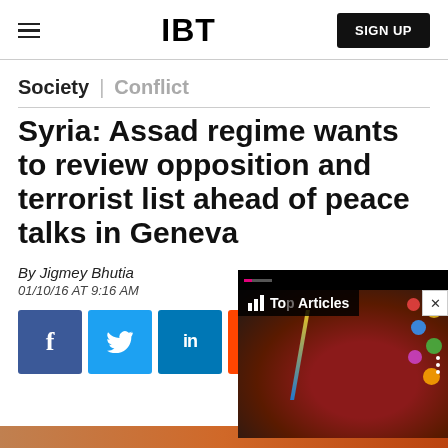IBT | SIGN UP
Society | Conflict
Syria: Assad regime wants to review opposition and terrorist list ahead of peace talks in Geneva
By Jigmey Bhutia
01/10/16 AT 9:16 AM
[Figure (screenshot): Social sharing buttons: Facebook, Twitter, LinkedIn, Reddit, Flipboard, Email]
[Figure (screenshot): Video overlay panel showing 'Top Articles' label with a thumbnail image of a person with colorful face paint and balloons in the background. A close button (X) is in the top right corner.]